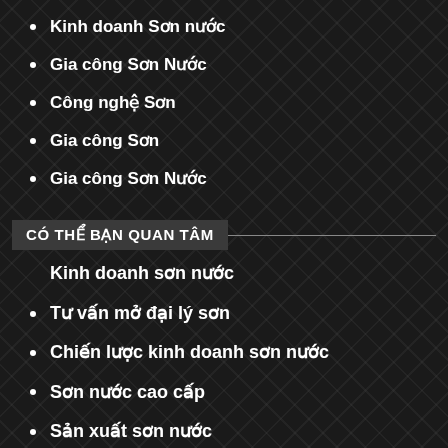Kinh doanh Sơn nước
Gia công Sơn Nước
Công nghệ Sơn
Gia công Sơn
Gia công Sơn Nước
CÓ THỂ BẠN QUAN TÂM
Kinh doanh sơn nước
Tư vấn mở đại lý sơn
Chiến lược kinh doanh sơn nước
Sơn nước cao cấp
Sản xuất sơn nước